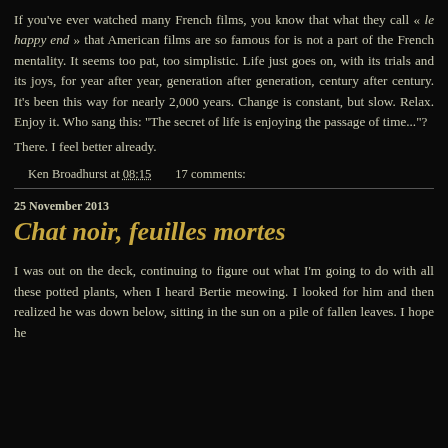If you've ever watched many French films, you know that what they call « le happy end » that American films are so famous for is not a part of the French mentality. It seems too pat, too simplistic. Life just goes on, with its trials and its joys, for year after year, generation after generation, century after century. It's been this way for nearly 2,000 years. Change is constant, but slow. Relax. Enjoy it. Who sang this: "The secret of life is enjoying the passage of time..."?
There. I feel better already.
Ken Broadhurst at 08:15   17 comments:
25 November 2013
Chat noir, feuilles mortes
I was out on the deck, continuing to figure out what I'm going to do with all these potted plants, when I heard Bertie meowing. I looked for him and then realized he was down below, sitting in the sun on a pile of fallen leaves. I hope he